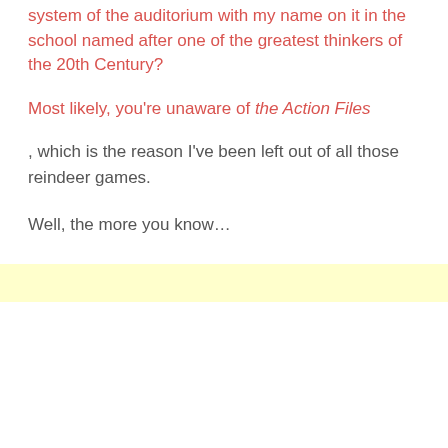system of the auditorium with my name on it in the school named after one of the greatest thinkers of the 20th Century?
Most likely, you’re unaware of the Action Files
, which is the reason I’ve been left out of all those reindeer games.
Well, the more you know…
[Figure (other): Yellow highlighted bar/band spanning the full width of the page]